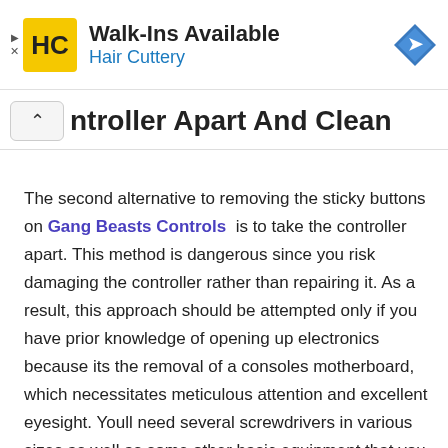[Figure (other): Hair Cuttery advertisement banner with logo, 'Walk-Ins Available' text, and navigation icon]
ntroller Apart And Clean
The second alternative to removing the sticky buttons on Gang Beasts Controls is to take the controller apart. This method is dangerous since you risk damaging the controller rather than repairing it. As a result, this approach should be attempted only if you have prior knowledge of opening up electronics because its the removal of a consoles motherboard, which necessitates meticulous attention and excellent eyesight. Youll need several screwdrivers in various sizes as well as some other basic equipment that you may already have in your tool kit to do so.